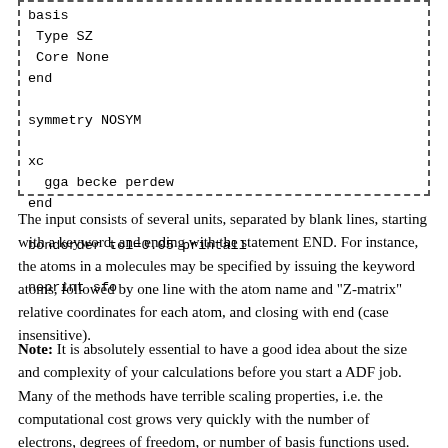basis
 Type SZ
 Core None
end

symmetry NOSYM

xc
  gga becke perdew
end

bondorder tol=0.05 printall

noprint sfo
The input consists of several units, separated by blank lines, starting with a keyword, and ending with the statement END. For instance, the atoms in a molecules may be specified by issuing the keyword atoms, followed by one line with the atom name and "Z-matrix" relative coordinates for each atom, and closing with end (case insensitive).
Note: It is absolutely essential to have a good idea about the size and complexity of your calculations before you start a ADF job. Many of the methods have terrible scaling properties, i.e. the computational cost grows very quickly with the number of electrons, degrees of freedom, or number of basis functions used. We suggest you start with a small basis set and a cheap method, and then slowly increase those